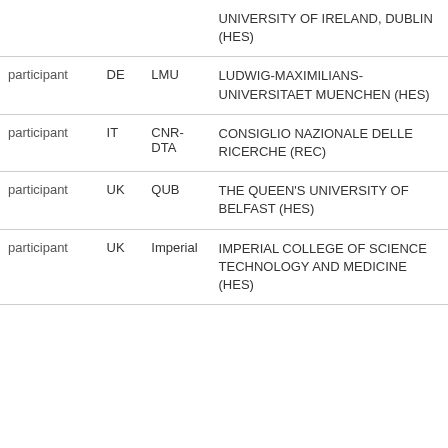| Role | Country | Short Name | Organisation |
| --- | --- | --- | --- |
|  |  |  | UNIVERSITY OF IRELAND, DUBLIN (HES) |
| participant | DE | LMU | LUDWIG-MAXIMILIANS-UNIVERSITAET MUENCHEN (HES) |
| participant | IT | CNR-DTA | CONSIGLIO NAZIONALE DELLE RICERCHE (REC) |
| participant | UK | QUB | THE QUEEN'S UNIVERSITY OF BELFAST (HES) |
| participant | UK | Imperial | IMPERIAL COLLEGE OF SCIENCE TECHNOLOGY AND MEDICINE (HES) |